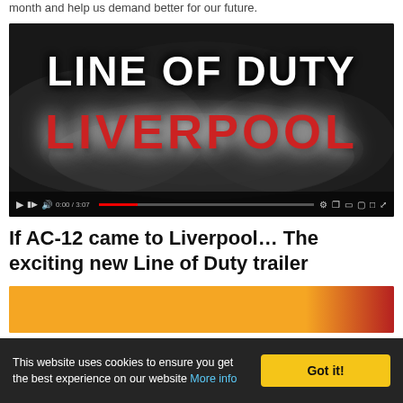month and help us demand better for our future.
[Figure (screenshot): YouTube video thumbnail showing 'LINE OF DUTY' in large white bold text and 'LIVERPOOL' in large red bold text on a dark smoky background, with video playback controls at the bottom.]
If AC-12 came to Liverpool… The exciting new Line of Duty trailer
[Figure (screenshot): Partial view of a card with an orange-to-red gradient background, partially cut off at the bottom of the page.]
This website uses cookies to ensure you get the best experience on our website More info
Got it!